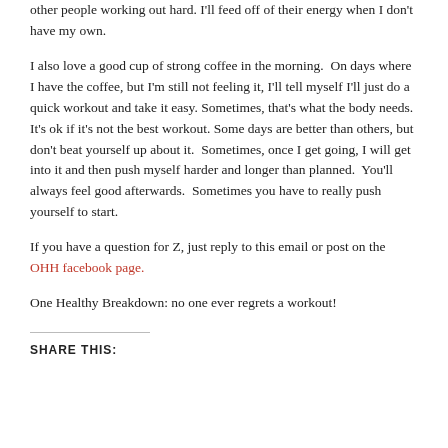other people working out hard. I'll feed off of their energy when I don't have my own.
I also love a good cup of strong coffee in the morning.  On days where I have the coffee, but I'm still not feeling it, I'll tell myself I'll just do a quick workout and take it easy. Sometimes, that's what the body needs. It's ok if it's not the best workout. Some days are better than others, but don't beat yourself up about it.  Sometimes, once I get going, I will get into it and then push myself harder and longer than planned.  You'll always feel good afterwards.  Sometimes you have to really push yourself to start.
If you have a question for Z, just reply to this email or post on the OHH facebook page.
One Healthy Breakdown: no one ever regrets a workout!
SHARE THIS: